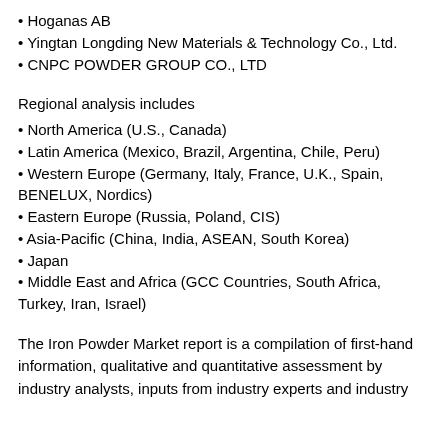• Hoganas AB
• Yingtan Longding New Materials & Technology Co., Ltd.
• CNPC POWDER GROUP CO., LTD
Regional analysis includes
• North America (U.S., Canada)
• Latin America (Mexico, Brazil, Argentina, Chile, Peru)
• Western Europe (Germany, Italy, France, U.K., Spain, BENELUX, Nordics)
• Eastern Europe (Russia, Poland, CIS)
• Asia-Pacific (China, India, ASEAN, South Korea)
• Japan
• Middle East and Africa (GCC Countries, South Africa, Turkey, Iran, Israel)
The Iron Powder Market report is a compilation of first-hand information, qualitative and quantitative assessment by industry analysts, inputs from industry experts and industry